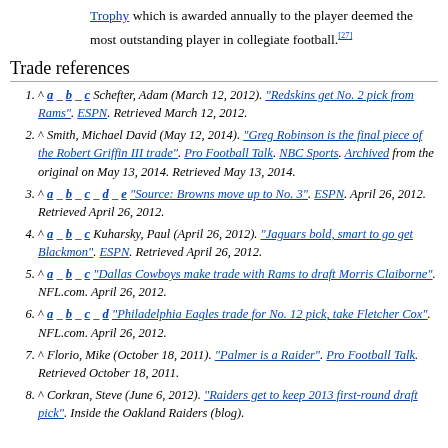Trophy which is awarded annually to the player deemed the most outstanding player in collegiate football.[27]
Trade references
^ a b c Schefter, Adam (March 12, 2012). "Redskins get No. 2 pick from Rams". ESPN. Retrieved March 12, 2012.
^ Smith, Michael David (May 12, 2014). "Greg Robinson is the final piece of the Robert Griffin III trade". Pro Football Talk. NBC Sports. Archived from the original on May 13, 2014. Retrieved May 13, 2014.
^ a b c d e "Source: Browns move up to No. 3". ESPN. April 26, 2012. Retrieved April 26, 2012.
^ a b c Kuharsky, Paul (April 26, 2012). "Jaguars bold, smart to go get Blackmon". ESPN. Retrieved April 26, 2012.
^ a b c "Dallas Cowboys make trade with Rams to draft Morris Claiborne". NFL.com. April 26, 2012.
^ a b c d "Philadelphia Eagles trade for No. 12 pick, take Fletcher Cox". NFL.com. April 26, 2012.
^ Florio, Mike (October 18, 2011). "Palmer is a Raider". Pro Football Talk. Retrieved October 18, 2011.
^ Corkran, Steve (June 6, 2012). "Raiders get to keep 2013 first-round draft pick". Inside the Oakland Raiders (blog).